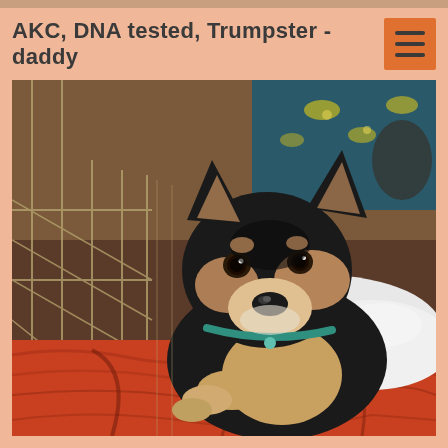AKC, DNA tested, Trumpster - daddy
[Figure (photo): A black and tan Shiba Inu puppy lying in a wire dog crate on colorful red/orange blankets and white fluffy bedding, looking at the camera. The puppy has pointed ears, dark eyes, a light muzzle, and is wearing a teal collar. In the background there are floral-patterned items.]